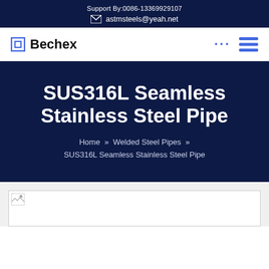Support By:0086-13369929107
astmsteels@yeah.net
Bechex
SUS316L Seamless Stainless Steel Pipe
Home » Welded Steel Pipes » SUS316L Seamless Stainless Steel Pipe
[Figure (photo): Product image placeholder for SUS316L Seamless Stainless Steel Pipe]